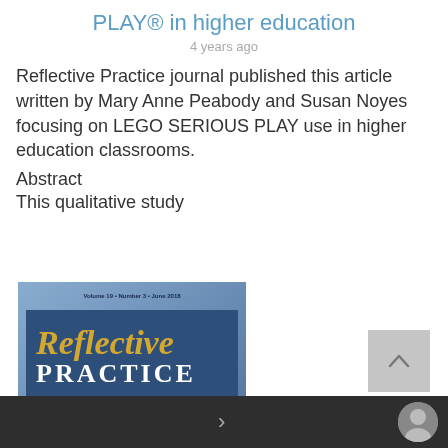PLAY® in higher education
4 years ago
Reflective Practice journal published this article written by Mary Anne Peabody and Susan Noyes focusing on LEGO SERIOUS PLAY use in higher education classrooms.
Abstract
This qualitative study
[Figure (photo): Cover of Reflective Practice journal, Volume 19, Number 3, June 2018. Blue cover with gold italic 'Reflective' and white bold 'PRACTICE' text on a dark blue band. Subtitle: International and Multidisciplinary Perspectives.]